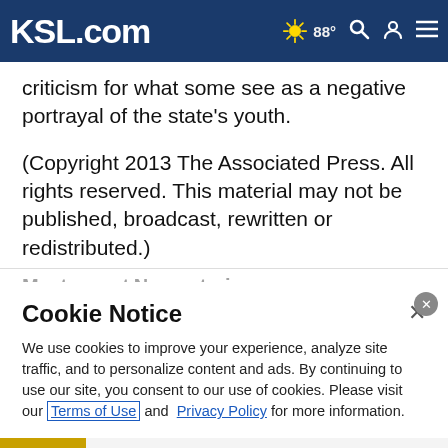KSL.com | 88° | Search | Account | Menu
criticism for what some see as a negative portrayal of the state's youth.
(Copyright 2013 The Associated Press. All rights reserved. This material may not be published, broadcast, rewritten or redistributed.)
Most recent News stories
Cookie Notice
We use cookies to improve your experience, analyze site traffic, and to personalize content and ads. By continuing to use our site, you consent to our use of cookies. Please visit our Terms of Use and Privacy Policy for more information.
[Figure (screenshot): Advertisement banner for Top Junior Gold Mining Stock with gold bars image and arrow button]
Top Junior Gold Mining Stock
Get access to the next top mining "Micro Cap" here!
www.rivres.com